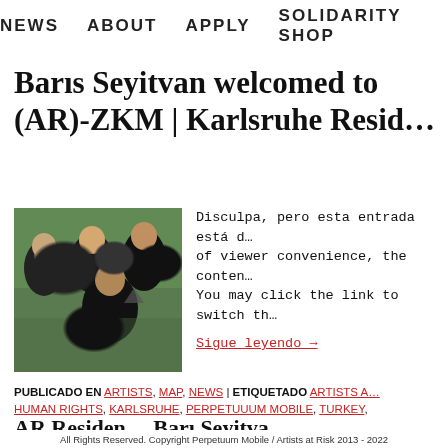NEWS   ABOUT   APPLY   SOLIDARITY SHOP
Baris Seyitvan welcomed to (AR)-ZKM | Karlsruhe Resid…
[Figure (photo): Group photo of four people outdoors, smiling at camera]
Disculpa, pero esta entrada está d… of viewer convenience, the conten… You may click the link to switch th…
Sigue leyendo →
PUBLICADO EN ARTISTS, MAP, NEWS | ETIQUETADO ARTISTS A… HUMAN RIGHTS, KARLSRUHE, PERPETUUUM MOBILE, TURKEY,
AR Residen... Bari Seyitva...
All Rights Reserved. Copyright Perpetuum Mobile / Artists at Risk 2013 - 2022